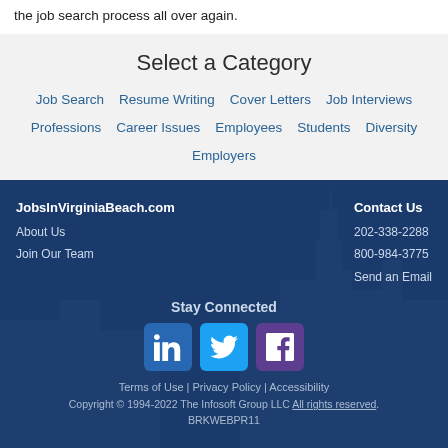the job search process all over again.
Select a Category
Job Search   Resume Writing   Cover Letters   Job Interviews   Professions   Career Issues   Employees   Students   Diversity   Employers
JobsInVirginiaBeach.com
About Us
Join Our Team
Contact Us
202-338-2288
800-984-3775
Send an Email
Stay Connected
[Figure (logo): LinkedIn, Twitter, and Facebook social media icons]
Terms of Use | Privacy Policy | Accessibility
Copyright © 1994-2022 The Infosoft Group LLC All rights reserved. BRKWEBPR11